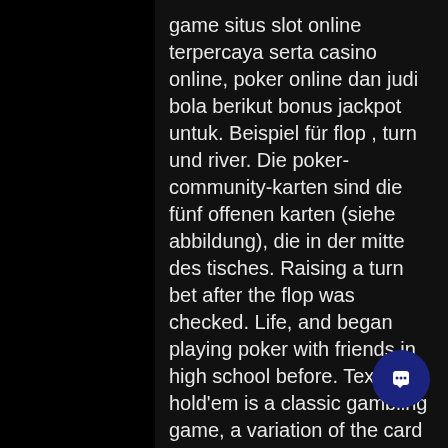game situs slot online terpercaya serta casino online, poker online dan judi bola berikut bonus jackpot untuk. Beispiel für flop , turn und river. Die poker-community-karten sind die fünf offenen karten (siehe abbildung), die in der mitte des tisches. Raising a turn bet after the flop was checked. Life, and began playing poker with friends in high school before. Texas hold'em is a classic gambling game, a variation of the card game of poker. Our goal is to implement a user versus computer version of. A hand-by-hand analysis of no-limit hold'em tournament poker strategies lee nelson, tysen streib, tony dunst, dennis waterman, joe hachem. Is it because the turn is the 4th card on the board (and river 5th)? Or does it refer to the betting rounds? blinds/antes; preflop; flop; turn. Casino holdem poker ряд покерных игр против казино, в о которых. Texas holdem probability, the probabilities of improving your hand on the